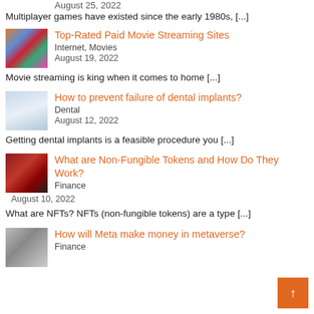August 25, 2022
Multiplayer games have existed since the early 1980s, [...]
[Figure (photo): Thumbnail image for Top-Rated Paid Movie Streaming Sites article]
Top-Rated Paid Movie Streaming Sites
Internet, Movies
August 19, 2022
Movie streaming is king when it comes to home [...]
[Figure (photo): Thumbnail image for dental implants article]
How to prevent failure of dental implants?
Dental
August 12, 2022
Getting dental implants is a feasible procedure you [...]
[Figure (photo): Thumbnail image for NFT article]
What are Non-Fungible Tokens and How Do They Work?
Finance
August 10, 2022
What are NFTs? NFTs (non-fungible tokens) are a type [...]
[Figure (photo): Thumbnail image for Meta metaverse article]
How will Meta make money in metaverse?
Finance